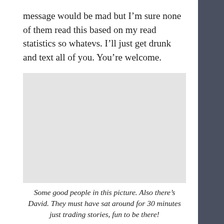message would be mad but I'm sure none of them read this based on my read statistics so whatevs. I'll just get drunk and text all of you. You're welcome.
[Figure (photo): A light gray placeholder rectangle representing a photograph of a group of people.]
Some good people in this picture. Also there's David. They must have sat around for 30 minutes just trading stories, fun to be there!